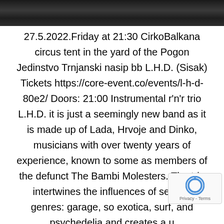[Figure (photo): Dark grayscale photo strip showing what appears to be a circus or event tent, taken at night]
27.5.2022.Friday at 21:30 CirkoBalkana circus tent in the yard of the Pogon Jedinstvo Trnjanski nasip bb L.H.D. (Sisak) Tickets https://core-event.co/events/l-h-d-80e2/ Doors: 21:00 Instrumental r'n'r trio L.H.D. it is just a seemingly new band as it is made up of Lada, Hrvoje and Dinko, musicians with over twenty years of experience, known to some as members of the defunct The Bambi Molesters. The trio intertwines the influences of several genres: garage, so exotica, surf, and psychedelia and creates a un exotica, surf, and psychedelia and creates a u